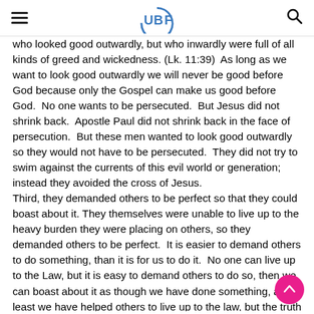UBF navigation header with hamburger menu, UBF logo, and search icon
who looked good outwardly, but who inwardly were full of all kinds of greed and wickedness. (Lk. 11:39)  As long as we want to look good outwardly we will never be good before God because only the Gospel can make us good before God.  No one wants to be persecuted.  But Jesus did not shrink back.  Apostle Paul did not shrink back in the face of persecution.  But these men wanted to look good outwardly so they would not have to be persecuted.  They did not try to swim against the currents of this evil world or generation; instead they avoided the cross of Jesus.
Third, they demanded others to be perfect so that they could boast about it. They themselves were unable to live up to the heavy burden they were placing on others, so they demanded others to be perfect.  It is easier to demand others to do something, than it is for us to do it.  No one can live up to the Law, but it is easy to demand others to do so, then we can boast about it as though we have done something, at least we have helped others to live up to the law, but the truth of the matter is that this too is only outward appearance. They traveled over land and sea to win a single convert, and when he becomes one, they